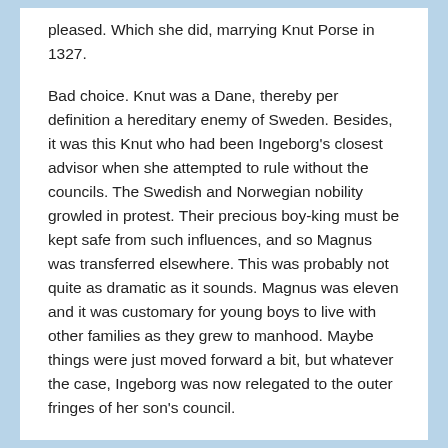pleased. Which she did, marrying Knut Porse in 1327.
Bad choice. Knut was a Dane, thereby per definition a hereditary enemy of Sweden. Besides, it was this Knut who had been Ingeborg's closest advisor when she attempted to rule without the councils. The Swedish and Norwegian nobility growled in protest. Their precious boy-king must be kept safe from such influences, and so Magnus was transferred elsewhere. This was probably not quite as dramatic as it sounds. Magnus was eleven and it was customary for young boys to live with other families as they grew to manhood. Maybe things were just moved forward a bit, but whatever the case, Ingeborg was now relegated to the outer fringes of her son's council.